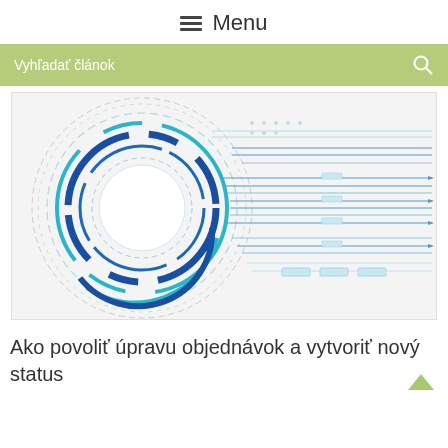Menu
Vyhľadať článok
[Figure (illustration): Technology abstract illustration with blue concentric circles/rings on the left and blue circuit board lines/traces extending to the right on a light gray background.]
Ako povoliť úpravu objednávok a vytvoriť nový status